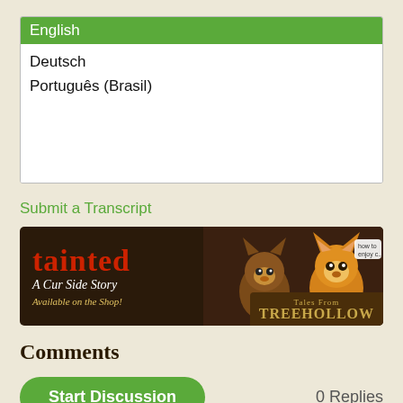English
Deutsch
Português (Brasil)
Submit a Transcript
[Figure (illustration): Banner ad for 'tainted: A Cur Side Story, Available on the Shop!' with Tales From Treehollow branding, featuring cartoon animal characters on a dark brown background.]
Comments
Start Discussion
0 Replies